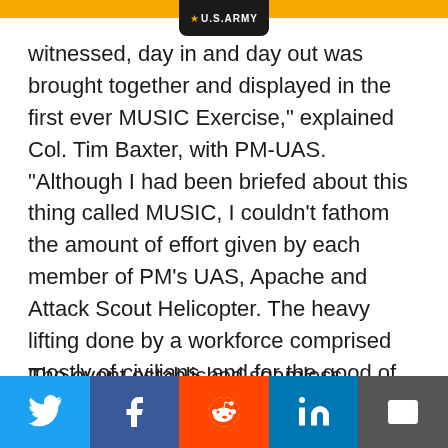U.S.ARMY
witnessed, day in and day out was brought together and displayed in the first ever MUSIC Exercise," explained Col. Tim Baxter, with PM-UAS. "Although I had been briefed about this thing called MUSIC, I couldn't fathom the amount of effort given by each member of PM's UAS, Apache and Attack Scout Helicopter. The heavy lifting done by a workforce comprised mostly of civilians, and for the good of our Soldiers, is heartfelt and makes a positive impact every day to the lives of those operational folks we send into harm's way."
The event established seamless integration of Apache, Black Hawk, Kiowa Warrior, kiowa and...